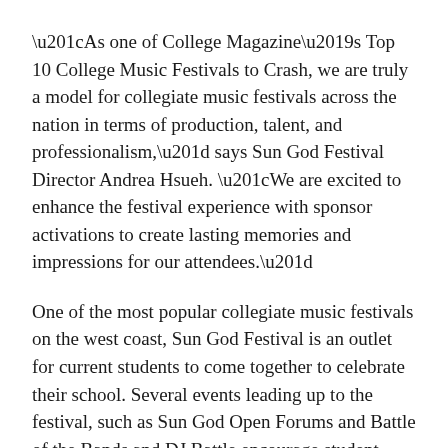“As one of College Magazine’s Top 10 College Music Festivals to Crash, we are truly a model for collegiate music festivals across the nation in terms of production, talent, and professionalism,” says Sun God Festival Director Andrea Hsueh. “We are excited to enhance the festival experience with sponsor activations to create lasting memories and impressions for our attendees.”
One of the most popular collegiate music festivals on the west coast, Sun God Festival is an outlet for current students to come together to celebrate their school. Several events leading up to the festival, such as Sun God Open Forums and Battle of the Bands and DJ Battle encourage student participation and input on the festival line up.
In the past Sun God Festival has hosted some of the music industry’s most notable acts including No Doubt, Neon Trees, Damian Marley, Third Eye Blind, Drake, My Chemical